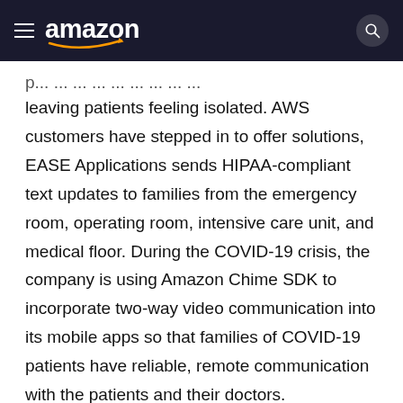amazon
leaving patients feeling isolated. AWS customers have stepped in to offer solutions, EASE Applications sends HIPAA-compliant text updates to families from the emergency room, operating room, intensive care unit, and medical floor. During the COVID-19 crisis, the company is using Amazon Chime SDK to incorporate two-way video communication into its mobile apps so that families of COVID-19 patients have reliable, remote communication with the patients and their doctors. CareMonitor, a provider of remote